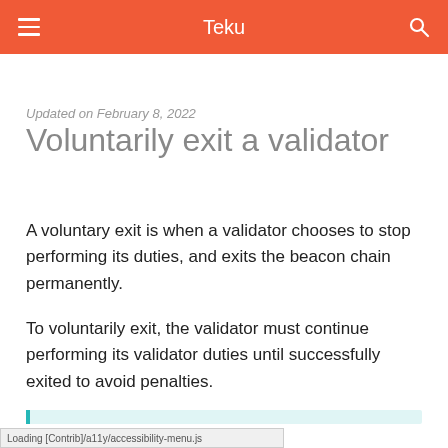Teku
Updated on February 8, 2022
Voluntarily exit a validator
A voluntary exit is when a validator chooses to stop performing its duties, and exits the beacon chain permanently.
To voluntarily exit, the validator must continue performing its validator duties until successfully exited to avoid penalties.
Loading [Contrib]/a11y/accessibility-menu.js